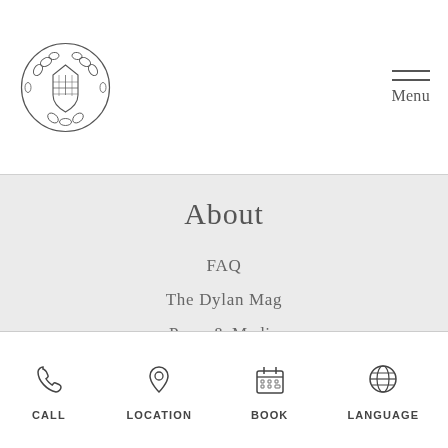[Figure (logo): Decorative circular crest/emblem logo of The Dylan hotel]
Menu
About
FAQ
The Dylan Mag
Press & Media
Disclaimer & Privacy Statement
Terms & Conditions
Careers
Why work at The Dylan
CALL  LOCATION  BOOK  LANGUAGE